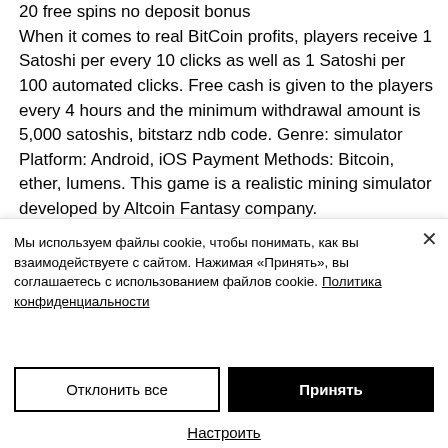20 free spins no deposit bonus
When it comes to real BitCoin profits, players receive 1 Satoshi per every 10 clicks as well as 1 Satoshi per 100 automated clicks. Free cash is given to the players every 4 hours and the minimum withdrawal amount is 5,000 satoshis, bitstarz ndb code. Genre: simulator Platform: Android, iOS Payment Methods: Bitcoin, ether, lumens. This game is a realistic mining simulator developed by Altcoin Fantasy company.
Мы используем файлы cookie, чтобы понимать, как вы взаимодействуете с сайтом. Нажимая «Принять», вы соглашаетесь с использованием файлов cookie. Политика конфиденциальности
Отклонить все
Принять
Настроить